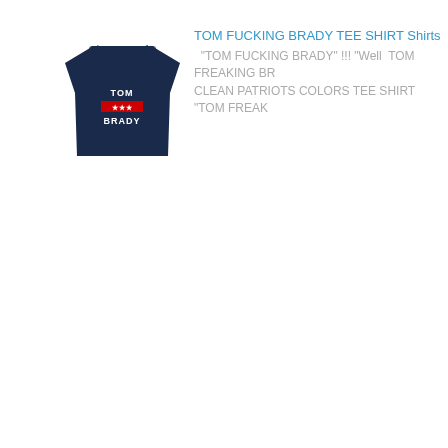[Figure (illustration): Navy blue t-shirt with 'TOM [red bar] BRADY' text printed on the front]
TOM FUCKING BRADY TEE SHIRT Shirts
"TOM FUCKING BRADY" !!! "Well  TOM FREAKING BR... CLEAN PATRIOTS COLORS TEE SHIRT "TOM FREAK...